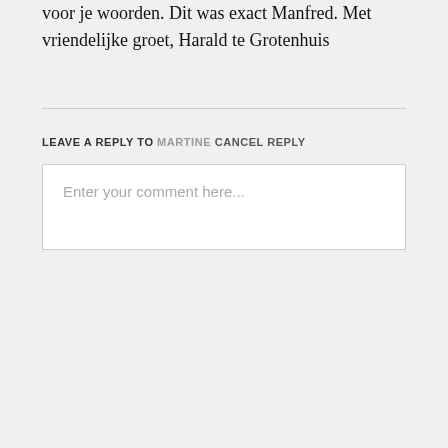voor je woorden. Dit was exact Manfred. Met vriendelijke groet, Harald te Grotenhuis
LEAVE A REPLY TO MARTINE CANCEL REPLY
Enter your comment here...